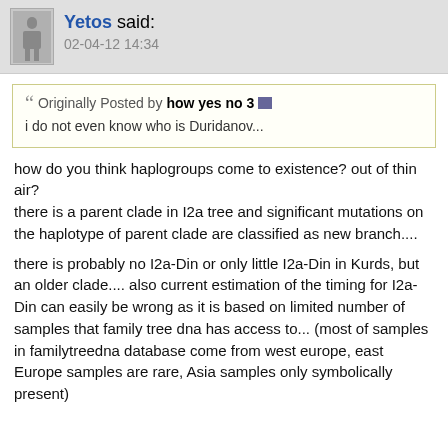Yetos said: 02-04-12 14:34
Originally Posted by how yes no 3
i do not even know who is Duridanov...
how do you think haplogroups come to existence? out of thin air?
there is a parent clade in I2a tree and significant mutations on the haplotype of parent clade are classified as new branch....

there is probably no I2a-Din or only little I2a-Din in Kurds, but an older clade.... also current estimation of the timing for I2a-Din can easily be wrong as it is based on limited number of samples that family tree dna has access to... (most of samples in familytreedna database come from west europe, east Europe samples are rare, Asia samples only symbolically present)